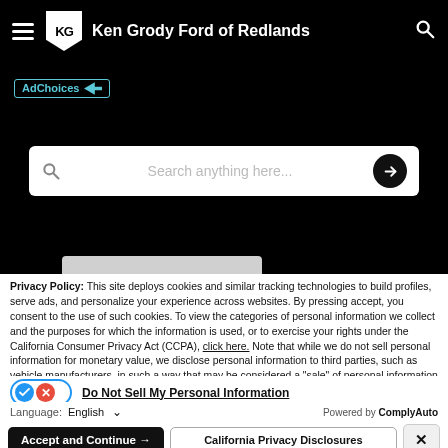Ken Grody Ford of Redlands
[Figure (screenshot): AdChoices banner label with icon]
[Figure (screenshot): Search bar with placeholder text 'Search anything here...' and arrow button]
Privacy Policy: This site deploys cookies and similar tracking technologies to build profiles, serve ads, and personalize your experience across websites. By pressing accept, you consent to the use of such cookies. To view the categories of personal information we collect and the purposes for which the information is used, or to exercise your rights under the California Consumer Privacy Act (CCPA), click here. Note that while we do not sell personal information for monetary value, we disclose personal information to third parties, such as vehicle manufacturers, in such a way that may be considered a "sale" of personal information under the CCPA. To direct us to stop the sale of your personal information, or to re-access these settings or disclosures at anytime, click the following icon or link:
Do Not Sell My Personal Information
Language: English
Powered by ComplyAuto
Accept and Continue →
California Privacy Disclosures